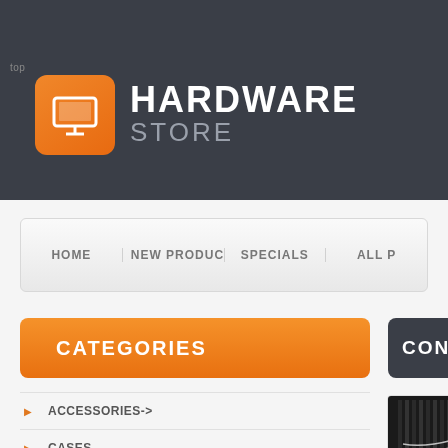top
HARDWARE STORE
[Figure (logo): Orange rounded-square icon with white computer monitor graphic — Hardware Store logo]
HOME | NEW PRODUCTS | SPECIALS | ALL P
CATEGORIES
CONTROLL
ACCESSORIES->
CASES
CD / DVD DRIVES
[Figure (photo): Partial photo of a dark computer CPU cooler/heatsink with fan and cooling fins]